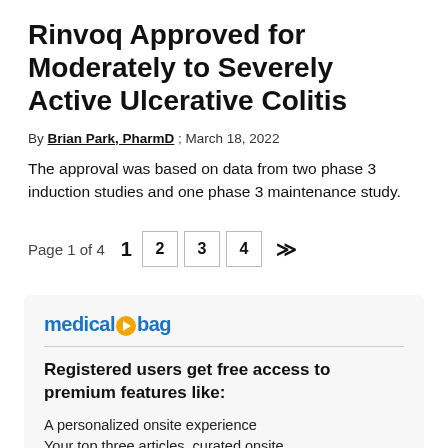Rinvoq Approved for Moderately to Severely Active Ulcerative Colitis
By Brian Park, PharmD ; March 18, 2022
The approval was based on data from two phase 3 induction studies and one phase 3 maintenance study.
Page 1 of 4  1  2  3  4  >|
[Figure (other): medicalbag logo with orange circle play button icon]
Registered users get free access to premium features like:
A personalized onsite experience
Your top three articles, curated onsite